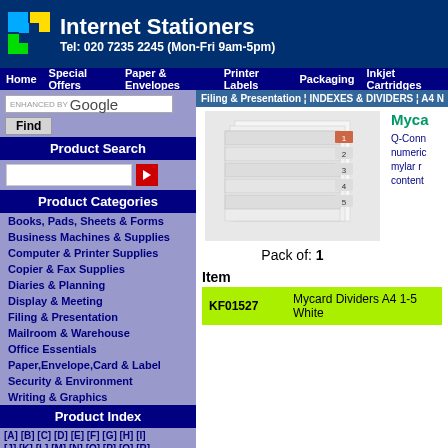Internet Stationers Tel: 020 7235 2245 (Mon-Fri 9am-5pm)
Home | Special Offers | Paper & Envelopes | Printer Labels | Packaging | Inkjet Cartridges
ENHANCED BY Google Find
Product Search
Product Categories
Books, Pads, Sheets & Forms
Business Machines & Supplies
Computer & Printer Supplies
Copier & Fax Supplies
Diaries & Planning
Display & Meeting
Filing & Presentation
Mailroom & Warehouse
Office Essentials
Paper,Envelope,Card & Label
Security & Environment
Writing & Graphics
Product Index
[A] [B] [C] [D] [E] [F] [G] [H] [I] [J] [K] [L] [M] [N] [O] [P] [Q] [R]
Filing & Presentation | INDEXES & DIVIDERS | A4 N...
[Figure (photo): Product image of Mycard Dividers A4 1-5 White, showing a stack of white tabbed dividers]
Pack of: 1
Myca
Q-Conn numeric mylar r content
Item
| Item | Description |
| --- | --- |
| KF01527 | Mycard Dividers A4 1-5 White |